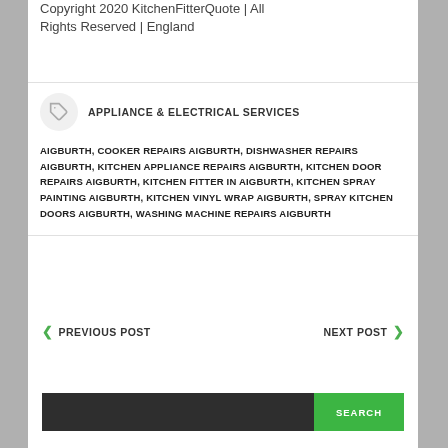Copyright 2020 KitchenFitterQuote | All Rights Reserved | England
APPLIANCE & ELECTRICAL SERVICES
AIGBURTH, COOKER REPAIRS AIGBURTH, DISHWASHER REPAIRS AIGBURTH, KITCHEN APPLIANCE REPAIRS AIGBURTH, KITCHEN DOOR REPAIRS AIGBURTH, KITCHEN FITTER IN AIGBURTH, KITCHEN SPRAY PAINTING AIGBURTH, KITCHEN VINYL WRAP AIGBURTH, SPRAY KITCHEN DOORS AIGBURTH, WASHING MACHINE REPAIRS AIGBURTH
PREVIOUS POST
NEXT POST